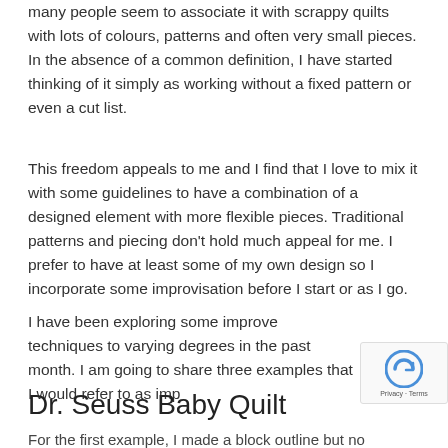many people seem to associate it with scrappy quilts with lots of colours, patterns and often very small pieces.  In the absence of a common definition, I have started thinking of it simply as working without a fixed pattern or even a cut list.
This freedom appeals to me and I find that I love to mix it with some guidelines to have a combination of a designed element with more flexible pieces.  Traditional patterns and piecing don't hold much appeal for me.  I prefer to have at least some of my own design so I incorporate some improvisation before I start or as I go.
I have been exploring some improve techniques to varying degrees in the past month.  I am going to share three examples that I would refer to as imp...
Dr.  Seuss Baby Quilt
For the first example, I made a block outline but no...